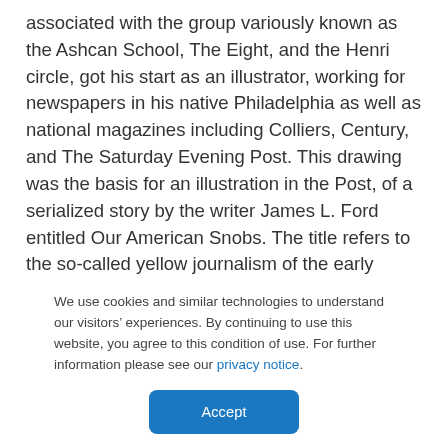associated with the group variously known as the Ashcan School, The Eight, and the Henri circle, got his start as an illustrator, working for newspapers in his native Philadelphia as well as national magazines including Colliers, Century, and The Saturday Evening Post. This drawing was the basis for an illustration in the Post, of a serialized story by the writer James L. Ford entitled Our American Snobs. The title refers to the so-called yellow journalism of the early twentieth century, a term for the new mass-circulation newspapers that trafficked in sensationalized and poorly sourced stories aimed at a mass audience. “The four hundred” refers to
We use cookies and similar technologies to understand our visitors’ experiences. By continuing to use this website, you agree to this condition of use. For further information please see our privacy notice.
Accept